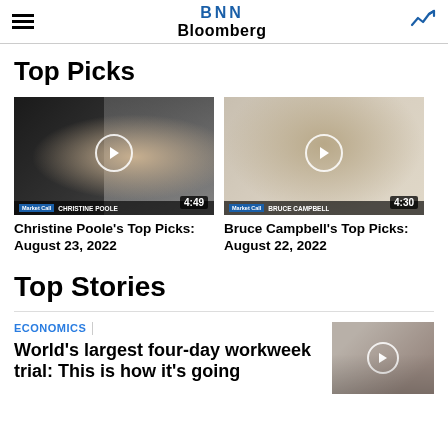BNN Bloomberg
Top Picks
[Figure (screenshot): Video thumbnail of Christine Poole, Market Call, duration 4:49]
Christine Poole's Top Picks: August 23, 2022
[Figure (screenshot): Video thumbnail of Bruce Campbell, Market Call, duration 4:30]
Bruce Campbell's Top Picks: August 22, 2022
Top Stories
ECONOMICS
World's largest four-day workweek trial: This is how it's going
[Figure (screenshot): Video thumbnail showing people walking on a street]